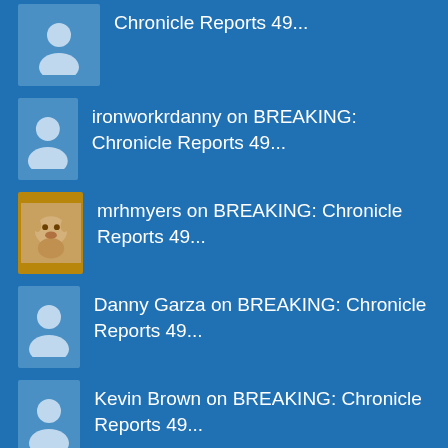Chronicle Reports 49...
ironworkrdanny on BREAKING: Chronicle Reports 49...
mrhmyers on BREAKING: Chronicle Reports 49...
Danny Garza on BREAKING: Chronicle Reports 49...
Kevin Brown on BREAKING: Chronicle Reports 49...
Subscribe via Email
Enter your email address to subscribe to...